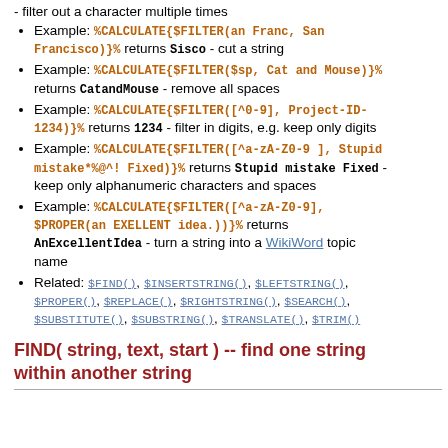- filter out a character multiple times
Example: %CALCULATE{$FILTER(an Franc, San Francisco)}% returns Sisco - cut a string
Example: %CALCULATE{$FILTER($sp, Cat and Mouse)}% returns CatandMouse - remove all spaces
Example: %CALCULATE{$FILTER([^0-9], Project-ID-1234)}% returns 1234 - filter in digits, e.g. keep only digits
Example: %CALCULATE{$FILTER([^a-zA-Z0-9 ], Stupid mistake*%@^! Fixed)}% returns Stupid mistake Fixed - keep only alphanumeric characters and spaces
Example: %CALCULATE{$FILTER([^a-zA-Z0-9], $PROPER(an EXELLENT idea.))}% returns AnExcellentIdea - turn a string into a WikiWord topic name
Related: $FIND(), $INSERTSTRING(), $LEFTSTRING(), $PROPER(), $REPLACE(), $RIGHTSTRING(), $SEARCH(), $SUBSTITUTE(), $SUBSTRING(), $TRANSLATE(), $TRIM()
FIND( string, text, start ) -- find one string within another string